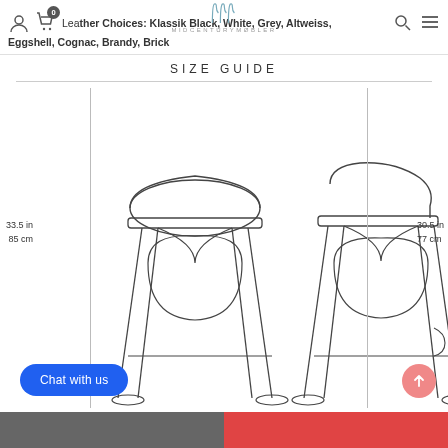Leather Choices: Klassik Black, White, Grey, Altweiss, Eggshell, Cognac, Brandy, Brick
SIZE GUIDE
[Figure (engineering-diagram): Two bar stool side-view line drawings. Left stool has a rounded dome-shaped seat top, height labeled 33.5 in / 85 cm. Right stool has a curved backrest and flat seat, height labeled 30.5 in / 77 cm. Both stools share a similar A-frame base.]
33.5 in
85 cm
30.5 in
77 cm